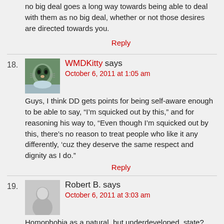no big deal goes a long way towards being able to deal with them as no big deal, whether or not those desires are directed towards you.
Reply
18. WMDKitty says
October 6, 2011 at 1:05 am
Guys, I think DD gets points for being self-aware enough to be able to say, “I'm squicked out by this,” and for reasoning his way to, “Even though I’m squicked out by this, there’s no reason to treat people who like it any differently, ‘cuz they deserve the same respect and dignity as I do.”
Reply
19. Robert B. says
October 6, 2011 at 3:03 am
Homophobia as a natural, but underdeveloped, state?